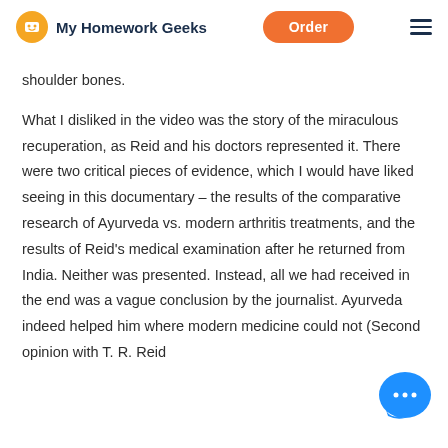My Homework Geeks | Order
shoulder bones.
What I disliked in the video was the story of the miraculous recuperation, as Reid and his doctors represented it. There were two critical pieces of evidence, which I would have liked seeing in this documentary – the results of the comparative research of Ayurveda vs. modern arthritis treatments, and the results of Reid's medical examination after he returned from India. Neither was presented. Instead, all we had received in the end was a vague conclusion by the journalist. Ayurveda indeed helped him where modern medicine could not (Second opinion with T. R. Reid